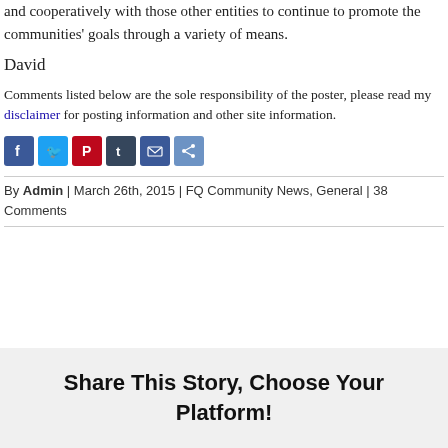and cooperatively with those other entities to continue to promote the communities' goals through a variety of means.
David
Comments listed below are the sole responsibility of the poster, please read my disclaimer for posting information and other site information.
[Figure (infographic): Row of social sharing icon buttons: Facebook (blue), Twitter (blue), Pinterest (red), Tumblr (dark blue), Email (blue), Share (light blue)]
By Admin | March 26th, 2015 | FQ Community News, General | 38 Comments
Share This Story, Choose Your Platform!